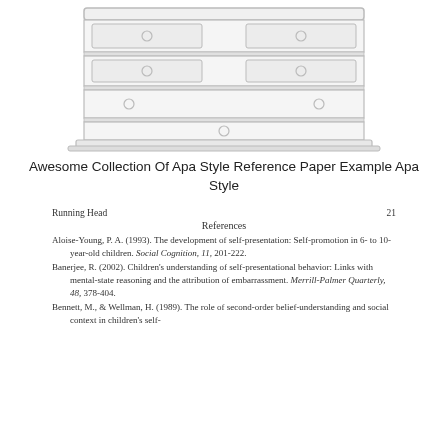[Figure (illustration): Illustration of a chest of drawers / dresser, shown in light gray outline style, partially cropped at top]
Awesome Collection Of Apa Style Reference Paper Example Apa Style
Running Head                                         21
References
Aloise-Young, P. A. (1993). The development of self-presentation: Self-promotion in 6- to 10-year-old children. Social Cognition, 11, 201-222.
Banerjee, R. (2002). Children's understanding of self-presentational behavior: Links with mental-state reasoning and the attribution of embarrassment. Merrill-Palmer Quarterly, 48, 378-404.
Bennett, M., & Wellman, H. (1989). The role of second-order belief-understanding and social context in children's self-